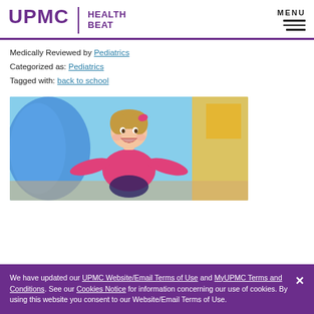UPMC | HEALTH BEAT   MENU
Medically Reviewed by Pediatrics
Categorized as: Pediatrics
Tagged with: back to school
[Figure (photo): A smiling young girl on a playground, wearing a pink shirt, with colorful playground equipment in the background (blue slide, yellow structure).]
We have updated our UPMC Website/Email Terms of Use and MyUPMC Terms and Conditions. See our Cookies Notice for information concerning our use of cookies. By using this website you consent to our Website/Email Terms of Use.